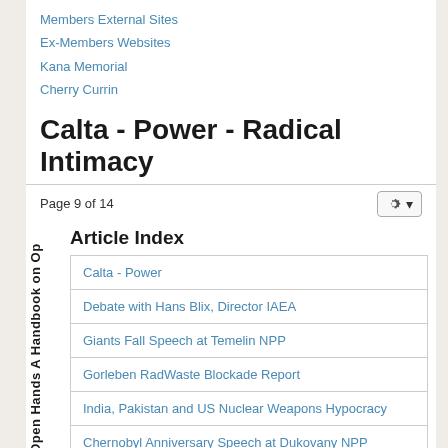Members External Sites
Ex-Members Websites
Kana Memorial
Cherry Currin
Calta - Power - Radical Intimacy
Page 9 of 14
Article Index
| Calta - Power |
| Debate with Hans Blix, Director IAEA |
| Giants Fall Speech at Temelin NPP |
| Gorleben RadWaste Blockade Report |
| India, Pakistan and US Nuclear Weapons Hypocracy |
| Chernobyl Anniversary Speech at Dukovany NPP |
| Shared Path, Shared Goal - Fingerbook Text |